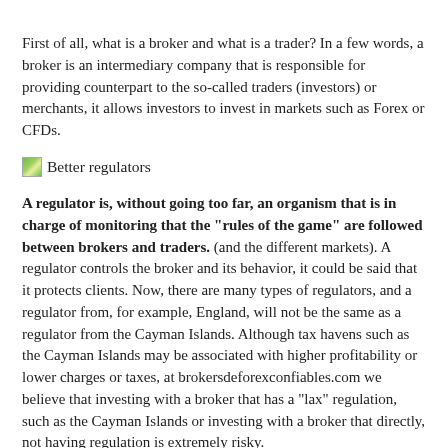First of all, what is a broker and what is a trader? In a few words, a broker is an intermediary company that is responsible for providing counterpart to the so-called traders (investors) or merchants, it allows investors to invest in markets such as Forex or CFDs.
[Figure (illustration): Small green image icon followed by text 'Better regulators']
A regulator is, without going too far, an organism that is in charge of monitoring that the "rules of the game" are followed between brokers and traders. (and the different markets). A regulator controls the broker and its behavior, it could be said that it protects clients. Now, there are many types of regulators, and a regulator from, for example, England, will not be the same as a regulator from the Cayman Islands. Although tax havens such as the Cayman Islands may be associated with higher profitability or lower charges or taxes, at brokersdeforexconfiables.com we believe that investing with a broker that has a "lax" regulation, such as the Cayman Islands or investing with a broker that directly, not having regulation is extremely risky.
As we well mentioned, a broker with a "bad" regulation is a broker that can act dishonestly with investors or directly against investors or, that is why we only recommend regulated brokers with